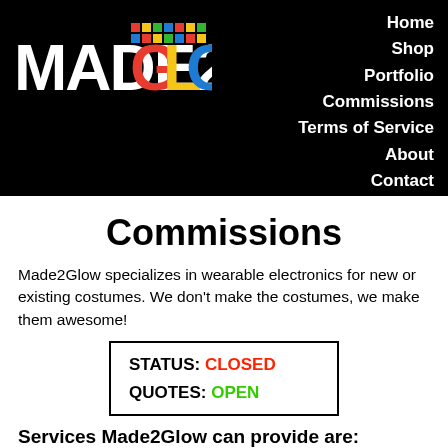[Figure (logo): Made2Glow logo with colorful glowing letters on black background]
Home
Shop
Portfolio
Commissions
Terms of Service
About
Contact
Commissions
Made2Glow specializes in wearable electronics for new or existing costumes. We don't make the costumes, we make them awesome!
STATUS: CLOSED
QUOTES: OPEN
Services Made2Glow can provide are:
LEDs
General electronics such as fans, audio, animatronics